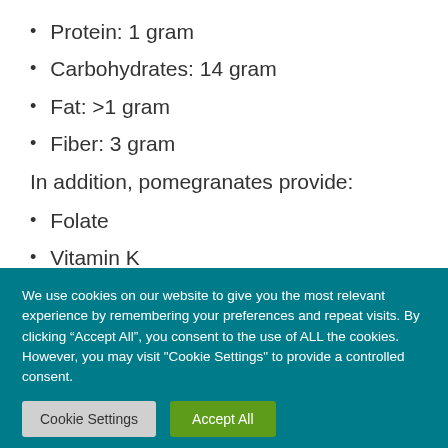Protein: 1 gram
Carbohydrates: 14 gram
Fat: >1 gram
Fiber: 3 gram
In addition, pomegranates provide:
Folate
Vitamin K
We use cookies on our website to give you the most relevant experience by remembering your preferences and repeat visits. By clicking “Accept All”, you consent to the use of ALL the cookies. However, you may visit "Cookie Settings" to provide a controlled consent.